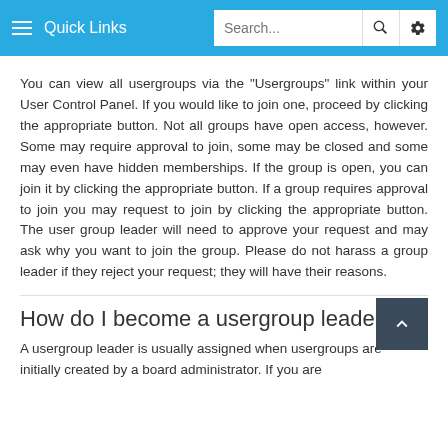≡ Quick Links | Search... 🔍 ⚙
You can view all usergroups via the "Usergroups" link within your User Control Panel. If you would like to join one, proceed by clicking the appropriate button. Not all groups have open access, however. Some may require approval to join, some may be closed and some may even have hidden memberships. If the group is open, you can join it by clicking the appropriate button. If a group requires approval to join you may request to join by clicking the appropriate button. The user group leader will need to approve your request and may ask why you want to join the group. Please do not harass a group leader if they reject your request; they will have their reasons.
How do I become a usergroup leader?
A usergroup leader is usually assigned when usergroups are initially created by a board administrator. If you are